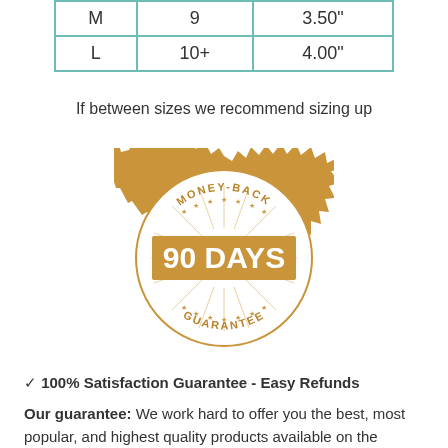|  |  |  |
| --- | --- | --- |
| M | 9 | 3.50" |
| L | 10+ | 4.00" |
If between sizes we recommend sizing up
[Figure (illustration): Gold money-back guarantee stamp/badge with text 'MONEY-BACK GUARANTEE' around a circle and '90 DAYS' in large bold letters on a banner across the middle]
✓ 100% Satisfaction Guarantee - Easy Refunds
Our guarantee: We work hard to offer you the best, most popular, and highest quality products available on the market once. We back it up with a risk-free 90-day, 100%